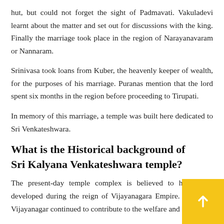hut, but could not forget the sight of Padmavati. Vakuladevi learnt about the matter and set out for discussions with the king. Finally the marriage took place in the region of Narayanavaram or Nannaram.
Srinivasa took loans from Kuber, the heavenly keeper of wealth, for the purposes of his marriage. Puranas mention that the lord spent six months in the region before proceeding to Tirupati.
In memory of this marriage, a temple was built here dedicated to Sri Venkateshwara.
What is the Historical background of Sri Kalyana Venkateshwara temple?
The present-day temple complex is believed to have been developed during the reign of Vijayanagara Empire. Rulers of Vijayanagar continued to contribute to the welfare and